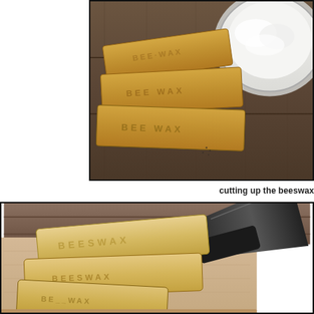[Figure (photo): Photograph of beeswax bars stacked on a wooden surface next to a glass bowl of white coconut oil or similar white substance. The beeswax bars are golden-yellow with text stamped on them reading BEESWAX.]
cutting up the beeswax
[Figure (photo): Close-up photograph of beeswax bars stamped with BEESWAX stacked on a light wooden cutting board, with a dark knife blade visible at the right side. The beeswax bars are pale golden/cream colored.]